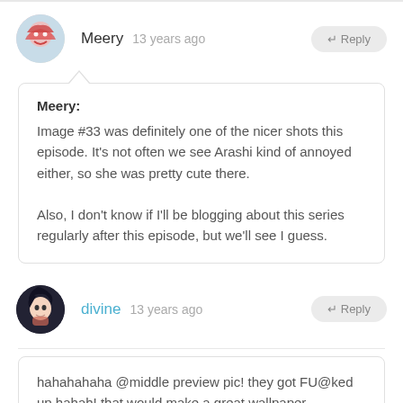Meery  13 years ago
Meery:
Image #33 was definitely one of the nicer shots this episode. It's not often we see Arashi kind of annoyed either, so she was pretty cute there.

Also, I don't know if I'll be blogging about this series regularly after this episode, but we'll see I guess.
divine  13 years ago
hahahahaha @middle preview pic! they got FU@ked up hahah! that would make a great wallpaper. . .however something is